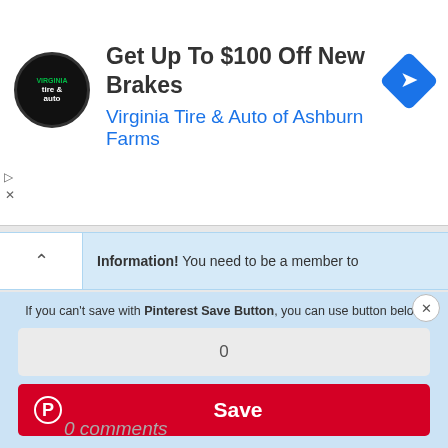[Figure (screenshot): Advertisement banner for Virginia Tire & Auto of Ashburn Farms offering up to $100 off new brakes, with circular logo and blue navigation icon]
Information!  You need to be a member to
If you can't save with Pinterest Save Button, you can use button below
0
Save
0 comments